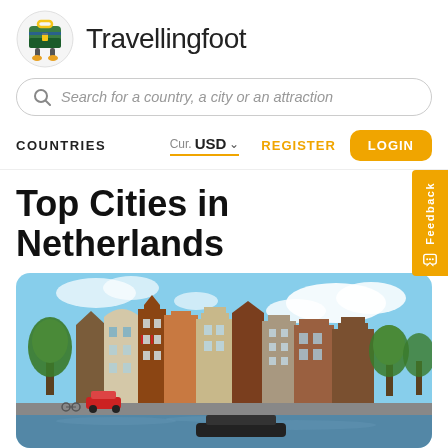[Figure (logo): Travellingfoot logo: cartoon green suitcase with legs and feet wearing boots]
Travellingfoot
Search for a country, a city or an attraction
COUNTRIES  Cur. USD  REGISTER  LOGIN
Top Cities in Netherlands
[Figure (photo): Amsterdam canal with tall, colourful Dutch gabled brick buildings along the waterfront, trees and canal boats in the foreground, blue sky with clouds]